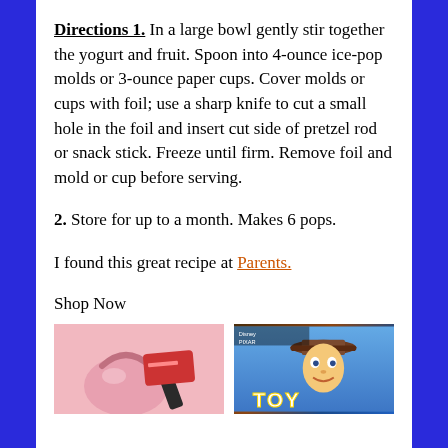Directions 1. In a large bowl gently stir together the yogurt and fruit. Spoon into 4-ounce ice-pop molds or 3-ounce paper cups. Cover molds or cups with foil; use a sharp knife to cut a small hole in the foil and insert cut side of pretzel rod or snack stick. Freeze until firm. Remove foil and mold or cup before serving.
2. Store for up to a month. Makes 6 pops.
I found this great recipe at Parents.
Shop Now
[Figure (photo): Pink handbag with hairbrush and red card accessory items]
[Figure (photo): Disney Pixar Toy Story movie cover showing Woody character]